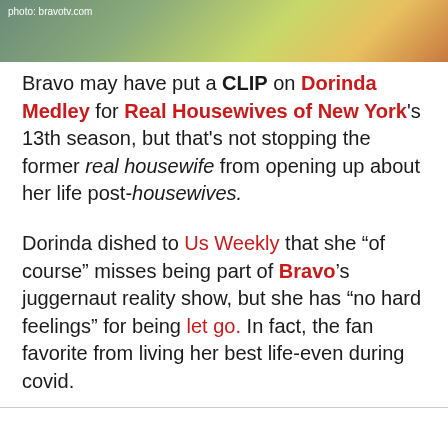[Figure (photo): Photo of people with colorful clothing, with caption 'photo: bravotv.com']
Bravo may have put a CLIP on Dorinda Medley for Real Housewives of New York's 13th season, but that's not stopping the former real housewife from opening up about her life post-housewives.
Dorinda dished to Us Weekly that she “of course” misses being part of Bravo’s juggernaut reality show, but she has “no hard feelings” for being let go. In fact, the fan favorite from living her best life-even during covid.